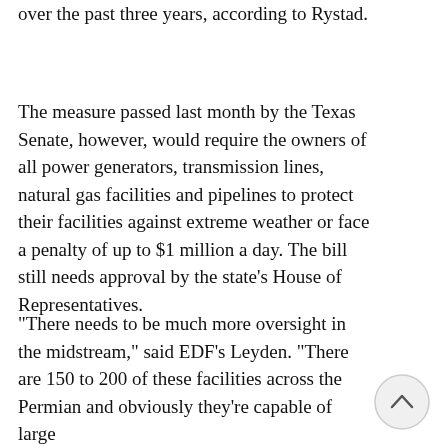over the past three years, according to Rystad.
The measure passed last month by the Texas Senate, however, would require the owners of all power generators, transmission lines, natural gas facilities and pipelines to protect their facilities against extreme weather or face a penalty of up to $1 million a day. The bill still needs approval by the state's House of Representatives.
"There needs to be much more oversight in the midstream," said EDF's Leyden. "There are 150 to 200 of these facilities across the Permian and obviously they're capable of large